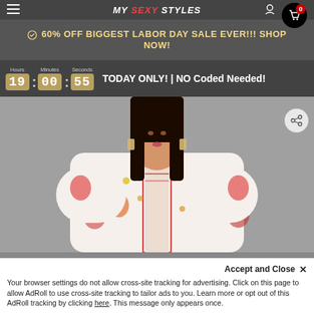MY SEXY STYLES
60% OFF BIGGEST LABOR DAY SALE EVER!!! SHOP NOW!
Hours 19 : Minutes 00 : Seconds 55 TODAY ONLY! | NO Coded Needed!
[Figure (photo): Woman wearing a white floral blouse with red embroidery trim at the neckline, holding a hand on hip, gray background]
Accept and Close ✕ Your browser settings do not allow cross-site tracking for advertising. Click on this page to allow AdRoll to use cross-site tracking to tailor ads to you. Learn more or opt out of this AdRoll tracking by clicking here. This message only appears once.